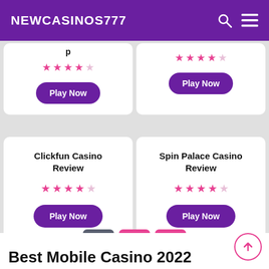NEWCASINOS777
Play Now (top-left card, partial)
Play Now (top-right card, partial)
Clickfun Casino Review
★★★★☆
Play Now
Spin Palace Casino Review
★★★★☆
Play Now
1  2  »
Best Mobile Casino 2022
Mobile casino games are one of the most popular forms of gambling and